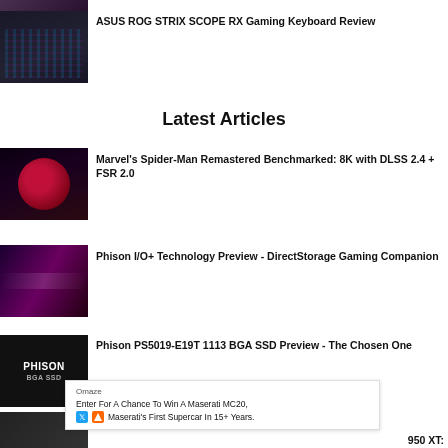[Figure (photo): Partial cropped image at top of page (keyboard or similar)]
[Figure (photo): ASUS ROG STRIX SCOPE RX Gaming Keyboard with RGB lighting]
ASUS ROG STRIX SCOPE RX Gaming Keyboard Review
Latest Articles
[Figure (photo): Marvel's Spider-Man Remastered game screenshot]
Marvel's Spider-Man Remastered Benchmarked: 8K with DLSS 2.4 + FSR 2.0
[Figure (photo): Phison I/O+ Technology SSD product image]
Phison I/O+ Technology Preview - DirectStorage Gaming Companion
[Figure (photo): Phison PS5019-E19T BGA SSD product photo]
Phison PS5019-E19T 1113 BGA SSD Preview - The Chosen One
[Figure (photo): Partial image at bottom of page]
950 XT:
Omaze
Enter For A Chance To Win A Maserati MC20,
Maserati's First Supercar In 15+ Years.